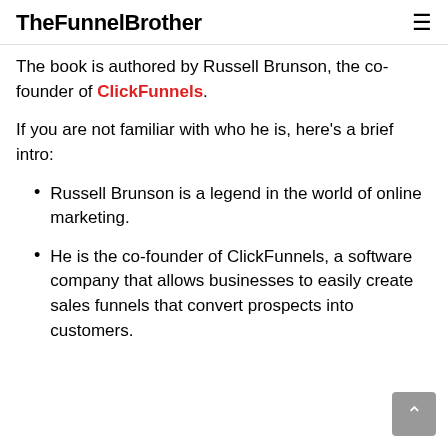TheFunnelBrother
The book is authored by Russell Brunson, the co-founder of ClickFunnels.
If you are not familiar with who he is, here's a brief intro:
Russell Brunson is a legend in the world of online marketing.
He is the co-founder of ClickFunnels, a software company that allows businesses to easily create sales funnels that convert prospects into customers.